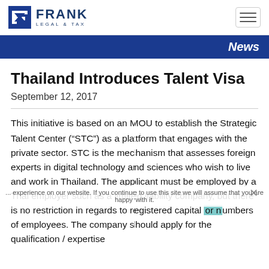FRANK LEGAL & TAX
News
Thailand Introduces Talent Visa
September 12, 2017
This initiative is based on an MOU to establish the Strategic Talent Center (“STC”) as a platform that engages with the private sector. STC is the mechanism that assesses foreign experts in digital technology and sciences who wish to live and work in Thailand. The applicant must be employed by a Thai employer such as a limited liability company, but there is no restriction in regards to registered capital or numbers of employees. The company should apply for the qualification / expertise